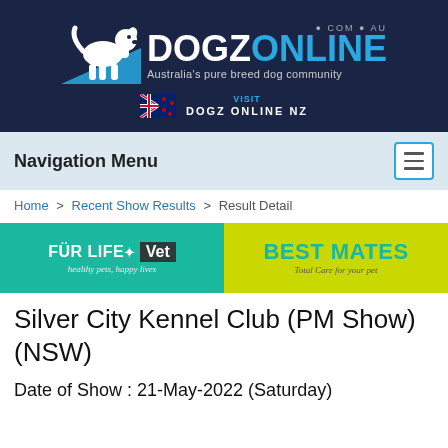[Figure (logo): Dogzonline logo — white dog silhouette on blue triangle, with 'DOGZONLINE' text and '.COM.AU' and tagline 'Australia's pure breed dog community', dark navy background, also NZ flag with 'VISIT DOGZ ONLINE NZ']
Navigation Menu
Home > Recent Show Results > Result Detail
[Figure (illustration): Advertisement banner: left half teal with 'FUR LIFE Vet healthy pets, happy lives'; right half yellow-green with 'BEST MATES Total Care for your pet']
Silver City Kennel Club (PM Show) (NSW)
Date of Show : 21-May-2022 (Saturday)